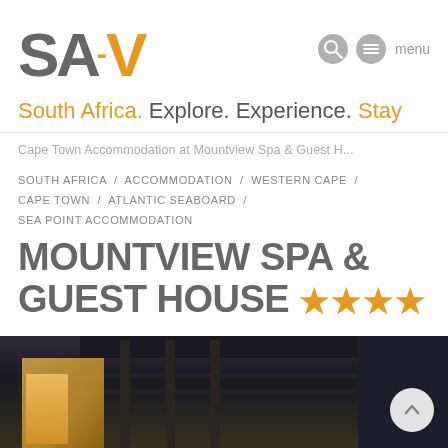SA-V logo and menu navigation
South Africa. Explore. Experience. Stay
Cape Town Accommodation at Mountview Spa & Guest H...
SOUTH AFRICA / ACCOMMODATION / WESTERN CAPE / CAPE TOWN / ATLANTIC SEABOARD / SEA POINT ACCOMMODATION
MOUNTVIEW SPA & GUEST HOUSE ★★★★
[Figure (photo): Night exterior photo of Mountview Spa & Guest House showing illuminated entrance with warm yellow window glow, dark roof structure with horizontal beams, vertical pillars, and dark curtained right side. A scroll-to-top button (chevron up, white circle) is visible in the bottom right.]